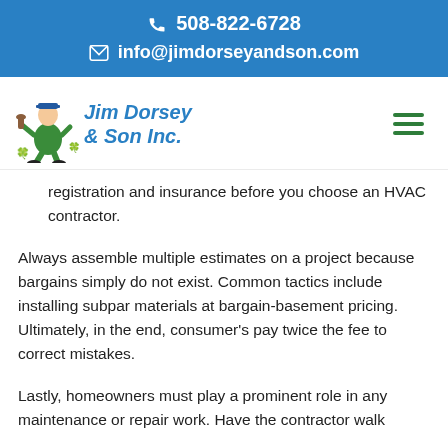📞 508-822-6728
✉ info@jimdorseyandson.com
[Figure (logo): Jim Dorsey & Son Inc. company logo with cartoon plumber figure and green shamrocks, blue script text reading 'Jim Dorsey & Son Inc.']
registration and insurance before you choose an HVAC contractor.
Always assemble multiple estimates on a project because bargains simply do not exist. Common tactics include installing subpar materials at bargain-basement pricing. Ultimately, in the end, consumer's pay twice the fee to correct mistakes.
Lastly, homeowners must play a prominent role in any maintenance or repair work. Have the contractor walk